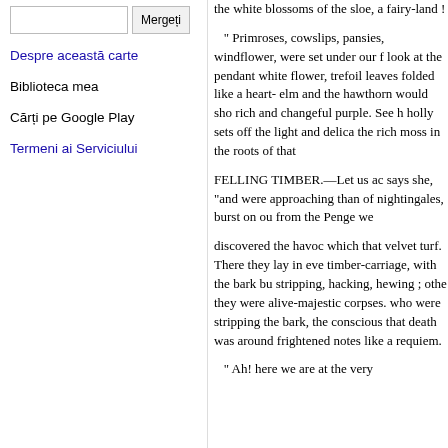[Search box] Mergeți
Despre această carte
Biblioteca mea
Cărți pe Google Play
Termeni ai Serviciului
the white blossoms of the sloe, a fairy-land ! " Primroses, cowslips, pansies, windflower, were set under our f look at the pendant white flower, trefoil leaves folded like a heart- elm and the hawthorn would sho rich and changeful purple. See h holly sets off the light and delic the rich moss in the roots of that FELLING TIMBER.—Let us ac says she, "and were approaching than of nightingales, burst on ou from the Penge we discovered the havoc which that velvet turf. There they lay in eve timber-carriage, with the bark bu stripping, hacking, hewing ; othe they were alive-majestic corpses. who were stripping the bark, the conscious that death was around frightened notes like a requiem. " Ah! here we are at the very